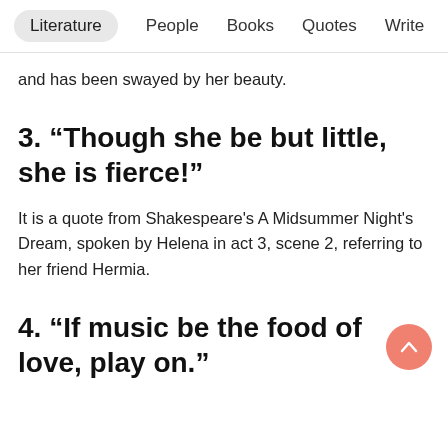Literature   People   Books   Quotes   Write
and has been swayed by her beauty.
3. “Though she be but little, she is fierce!”
It is a quote from Shakespeare's A Midsummer Night's Dream, spoken by Helena in act 3, scene 2, referring to her friend Hermia.
4. “If music be the food of love, play on.”